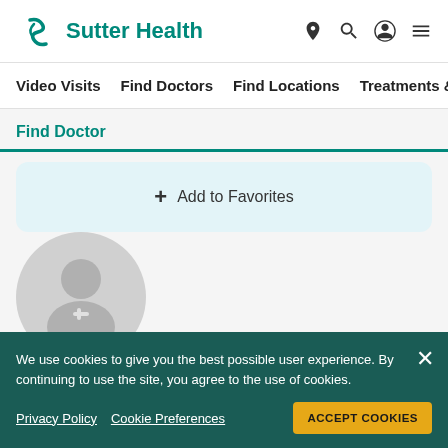[Figure (logo): Sutter Health logo with teal S icon and teal text 'Sutter Health']
Video Visits   Find Doctors   Find Locations   Treatments &
Find Doctor
+ Add to Favorites
[Figure (illustration): Doctor/person silhouette placeholder image with plus icon]
Paul Uwat M.D.
We use cookies to give you the best possible user experience. By continuing to use the site, you agree to the use of cookies.
Privacy Policy   Cookie Preferences   ACCEPT COOKIES